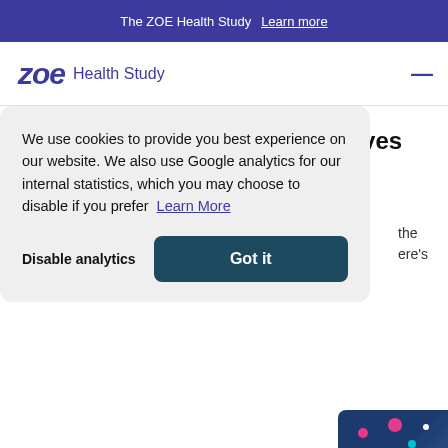The ZOE Health Study  Learn more
zoe Health Study
Double COVID vaccination halves risk of Long COVID
September 2, 2021
We use cookies to provide you best experience on our website. We also use Google analytics for our internal statistics, which you may choose to disable if you prefer  Learn More
Disable analytics   Got it